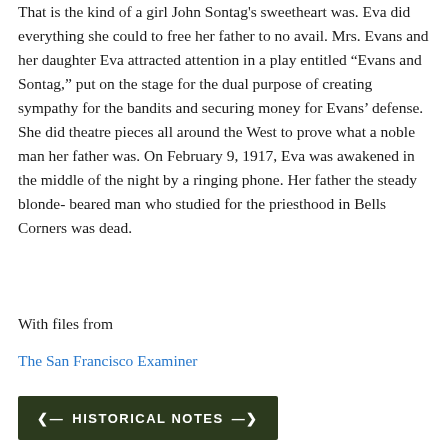That is the kind of a girl John Sontag's sweetheart was. Eva did everything she could to free her father to no avail. Mrs. Evans and her daughter Eva attracted attention in a play entitled “Evans and Sontag,” put on the stage for the dual purpose of creating sympathy for the bandits and securing money for Evans’ defense. She did theatre pieces all around the West to prove what a noble man her father was. On February 9, 1917, Eva was awakened in the middle of the night by a ringing phone. Her father the steady blonde- beared man who studied for the priesthood in Bells Corners was dead.
With files from
The San Francisco Examiner
HISTORICAL NOTES